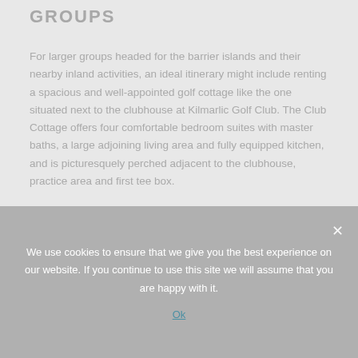GROUPS
For larger groups headed for the barrier islands and their nearby inland activities, an ideal itinerary might include renting a spacious and well-appointed golf cottage like the one situated next to the clubhouse at Kilmarlic Golf Club. The Club Cottage offers four comfortable bedroom suites with master baths, a large adjoining living area and fully equipped kitchen, and is picturesquely perched adjacent to the clubhouse, practice area and first tee box.
Kilmarlic is currently constructing 18 new cottages on
We use cookies to ensure that we give you the best experience on our website. If you continue to use this site we will assume that you are happy with it.